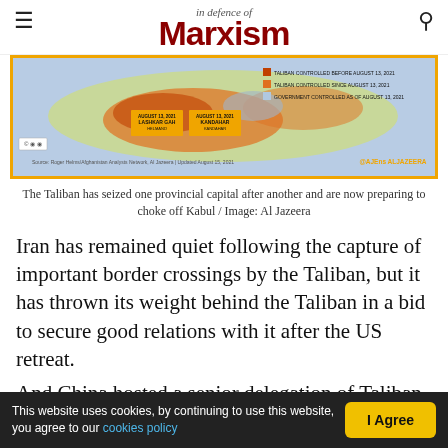In Defence of Marxism
[Figure (map): Al Jazeera map of Afghanistan showing Taliban-controlled territory before and after August 13, 2021, and government-controlled areas. Labels show Lashkar Gah/Helmand and Kandahar/Kandahar captured August 2021.]
The Taliban has seized one provincial capital after another and are now preparing to choke off Kabul / Image: Al Jazeera
Iran has remained quiet following the capture of important border crossings by the Taliban, but it has thrown its weight behind the Taliban in a bid to secure good relations with it after the US retreat.
And China hosted a senior delegation of Taliban leaders in July, aware that it will need to maintain the flow of trade through the country as part of its